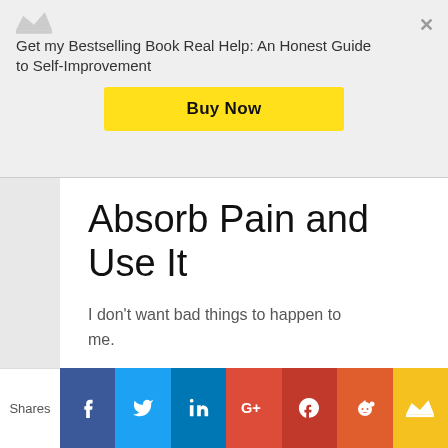Get my Bestselling Book Real Help: An Honest Guide to Self-Improvement
Buy Now
Absorb Pain and Use It
I don't want bad things to happen to me.
But now, I almost always look at pain, obstacles, and setbacks as teachers.
Shares [Facebook] [Twitter] [LinkedIn] [Google+] [Pocket] [Reddit] [Crown]